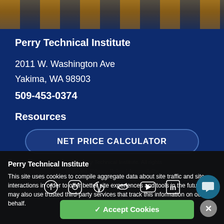[Figure (photo): Partial view of a car engine or automotive equipment, forming a photo banner at the top of the page.]
Perry Technical Institute
2011 W. Washington Ave
Yakima, WA 98903
509-453-0374
Resources
NET PRICE CALCULATOR
Perry Technical Institute
This site uses cookies to compile aggregate data about site traffic and site interactions in order to offer better site experiences and tools in the future. We may also use trusted third-party services that track this information on our behalf.
©2022 Perry Technical Institute. All rights reserved. Privacy Policy | Accessibility
✓ Accept Cookies